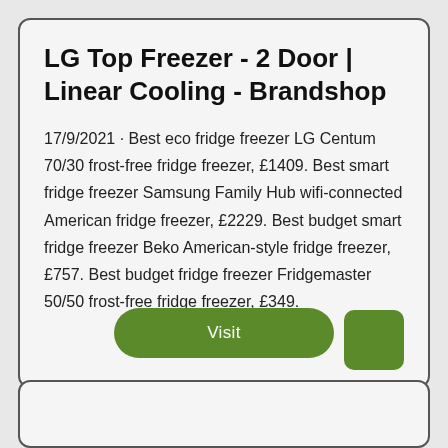LG Top Freezer - 2 Door | Linear Cooling - Brandshop
17/9/2021 · Best eco fridge freezer LG Centum 70/30 frost-free fridge freezer, £1409. Best smart fridge freezer Samsung Family Hub wifi-connected American fridge freezer, £2229. Best budget smart fridge freezer Beko American-style fridge freezer, £757. Best budget fridge freezer Fridgemaster 50/50 frost-free fridge freezer, £349.